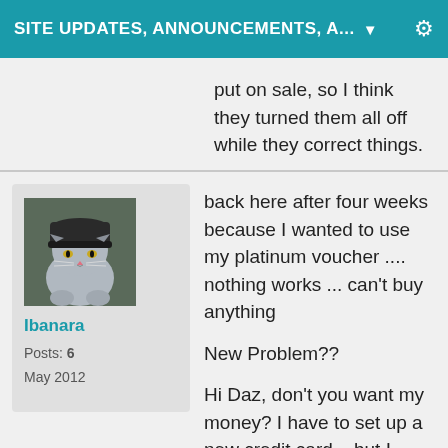SITE UPDATES, ANNOUNCEMENTS, A... ▼
put on sale, so I think they turned them all off while they correct things.
[Figure (photo): Avatar image of a grey cat wearing a black beanie hat]
Ibanara
Posts: 6
May 2012
back here after four weeks because I wanted to use my platinum voucher .... nothing works ... can't buy anything

New Problem??

Hi Daz, don't you want my money? I have to set up a new credit card – but I can't, because there is no "country" to select (I come from Germany) on the credit card profile side – so no credit card